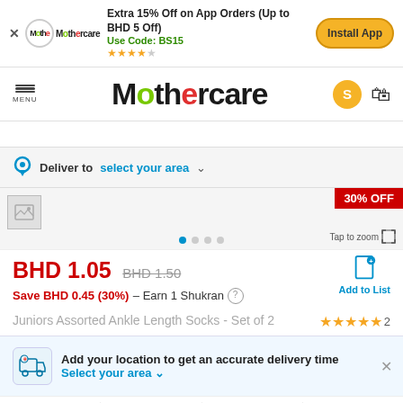Extra 15% Off on App Orders (Up to BHD 5 Off) Use Code: BS15 ★★★★☆
[Figure (logo): Mothercare logo in app install banner]
Install App
[Figure (logo): Mothercare navigation logo]
Deliver to  select your area
[Figure (photo): Product image placeholder with 30% OFF badge and Tap to zoom option]
BHD 1.05  BHD 1.50
Save BHD 0.45 (30%) – Earn 1 Shukran
Juniors Assorted Ankle Length Socks - Set of 2
★★★★★ 2
Add your location to get an accurate delivery time
Select your area
6MTHS+  12MTHS+  18MTHS+  24MTHS+